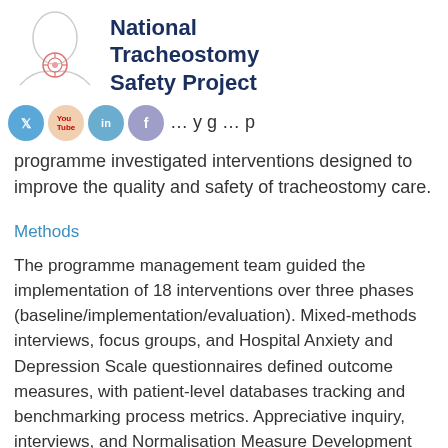[Figure (logo): National Tracheostomy Safety Project logo - outline of a human neck/throat with a tracheostomy device illustration]
National Tracheostomy Safety Project
programme investigated interventions designed to improve the quality and safety of tracheostomy care.
Methods
The programme management team guided the implementation of 18 interventions over three phases (baseline/implementation/evaluation). Mixed-methods interviews, focus groups, and Hospital Anxiety and Depression Scale questionnaires defined outcome measures, with patient-level databases tracking and benchmarking process metrics. Appreciative inquiry, interviews, and Normalisation Measure Development questionnaires explored change barriers and enablers.